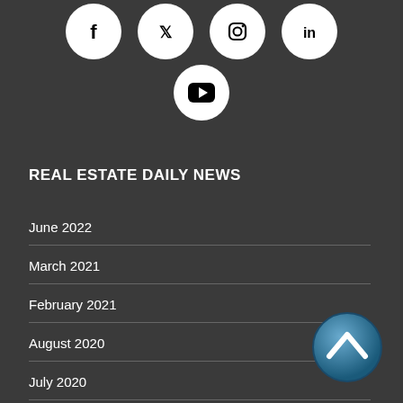[Figure (infographic): Social media icons row 1: Facebook, Twitter, Instagram, LinkedIn — white circles on dark background]
[Figure (infographic): Social media icon row 2: YouTube — white circle on dark background]
REAL ESTATE DAILY NEWS
June 2022
March 2021
February 2021
August 2020
July 2020
[Figure (infographic): Back to top button — teal/blue circle with upward chevron arrow]